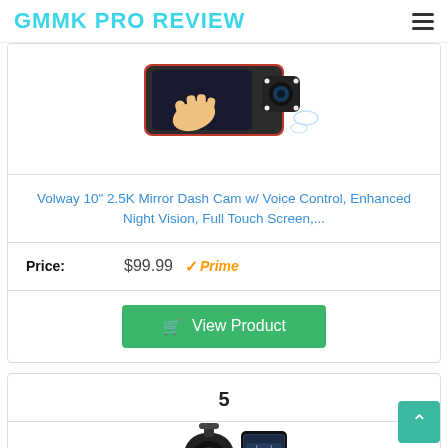GMMK PRO REVIEW
[Figure (photo): Product image of a mirror dash cam with a hand touching the screen and a rear camera module]
Volway 10" 2.5K Mirror Dash Cam w/ Voice Control, Enhanced Night Vision, Full Touch Screen,...
Price: $99.99 Prime
View Product
5
[Figure (photo): Product image of a dash cam device shown with a smartphone]